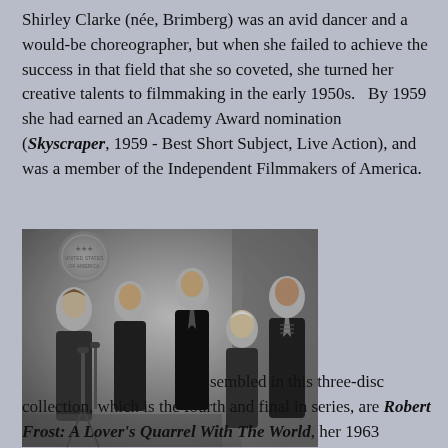Shirley Clarke (née, Brimberg) was an avid dancer and a would-be choreographer, but when she failed to achieve the success in that field that she so coveted, she turned her creative talents to filmmaking in the early 1950s.   By 1959 she had earned an Academy Award nomination (Skyscraper, 1959 - Best Short Subject, Live Action), and was a member of the Independent Filmmakers of America.
[Figure (photo): Black and white photograph showing several men in suits, including what appears to be John F. Kennedy on the left and an elderly man in the center, gathered around a microphone.]
Assembled in this three-disc collection, which is the fourth and final in series, are Robert Frost: A Lover's Quarrel With The World, her 1963 documentary featuring Robert Frost and John F. Kennedy, which